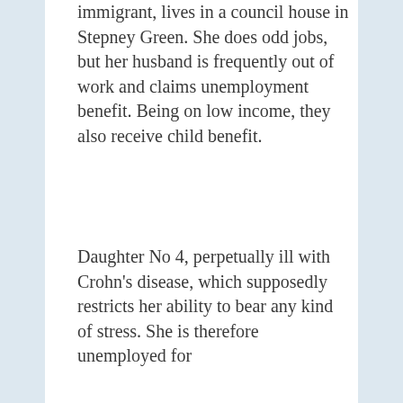immigrant, lives in a council house in Stepney Green. She does odd jobs, but her husband is frequently out of work and claims unemployment benefit. Being on low income, they also receive child benefit.
Daughter No 4, perpetually ill with Crohn's disease, which supposedly restricts her ability to bear any kind of stress. She is therefore unemployed for